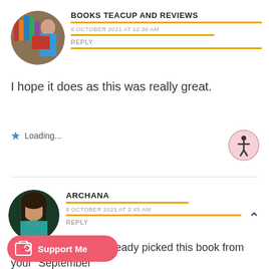[Figure (photo): Circular avatar photo of a person holding books in front of a bookshelf]
BOOKS TEACUP AND REVIEWS
9 OCTOBER 2021 AT 12:30 AM
REPLY
I hope it does as this was really great.
Loading...
[Figure (illustration): Accessibility icon - person in circle with pink background]
[Figure (photo): Circular avatar photo of a woman with long dark hair wearing a teal top]
ARCHANA
8 OCTOBER 2021 AT 2:45 AM
REPLY
a detailed review. I already picked this book from your "September
[Figure (illustration): Support Me button with Ko-fi cup icon on coral/red background]